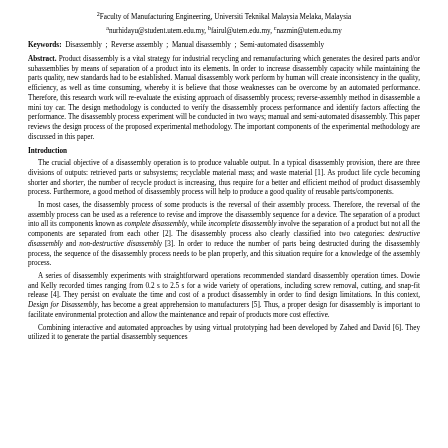2Faculty of Manufacturing Engineering, Universiti Teknikal Malaysia Melaka, Malaysia
anurh idayu@student.utem.edu.my, bfairul@utem.edu.my, cnazmin@utem.edu.my
Keywords: Disassembly ; Reverse assembly ; Manual disassembly ; Semi-automated disassembly
Abstract. Product disassembly is a vital strategy for industrial recycling and remanufacturing which generates the desired parts and/or subassemblies by means of separation of a product into its elements. In order to increase disassembly capacity while maintaining the parts quality, new standards had to be established. Manual disassembly work perform by human will create inconsistency in the quality, efficiency, as well as time consuming, whereby it is believe that those weaknesses can be overcome by an automated performance. Therefore, this research work will re-evaluate the existing approach of disassembly process; reverse-assembly method in disassemble a mini toy car. The design methodology is conducted to verify the disassembly process performance and identify factors affecting the performance. The disassembly process experiment will be conducted in two ways; manual and semi-automated disassembly. This paper reviews the design process of the proposed experimental methodology. The important components of the experimental methodology are discussed in this paper.
Introduction
The crucial objective of a disassembly operation is to produce valuable output. In a typical disassembly provision, there are three divisions of outputs: retrieved parts or subsystems; recyclable material mass; and waste material [1]. As product life cycle becoming shorter and shorter, the number of recycle product is increasing, thus require for a better and efficient method of product disassembly process. Furthermore, a good method of disassembly process will help to produce a good quality of reusable parts/components.
In most cases, the disassembly process of some products is the reversal of their assembly process. Therefore, the reversal of the assembly process can be used as a reference to revise and improve the disassembly sequence for a device. The separation of a product into all its components known as complete disassembly, while incomplete disassembly involve the separation of a product but not all the components are separated from each other [2]. The disassembly process also clearly classified into two categories: destructive disassembly and non-destructive disassembly [3]. In order to reduce the number of parts being destructed during the disassembly process, the sequence of the disassembly process needs to be plan properly, and this situation require for a knowledge of the assembly process.
A series of disassembly experiments with straightforward operations recommended standard disassembly operation times. Dowie and Kelly recorded times ranging from 0.2 s to 2.5 s for a wide variety of operations, including screw removal, cutting, and snap-fit release [4]. They persist on evaluate the time and cost of a product disassembly in order to find design limitations. In this context, Design for Disassembly, has become a great apprehension to manufacturers [5]. Thus, a proper design for disassembly is important to facilitate environmental protection and allow the maintenance and repair of products more cost effective.
Combining interactive and automated approaches by using virtual prototyping had been developed by Zahed and David [6]. They utilized it to generate the partial disassembly sequences